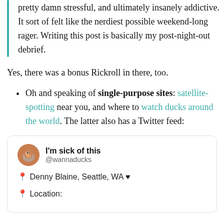pretty damn stressful, and ultimately insanely addictive. It sort of felt like the nerdiest possible weekend-long rager. Writing this post is basically my post-night-out debrief.
Yes, there was a bonus Rickroll in there, too.
Oh and speaking of single-purpose sites: satellite-spotting near you, and where to watch ducks around the world. The latter also has a Twitter feed:
[Figure (screenshot): Twitter card for @wannaducks: 'I'm sick of this' account. Shows avatar of a duck/bird, display name 'I'm sick of this', handle '@wannaducks', location 'Denny Blaine, Seattle, WA ♥', and 'Location:' field.]